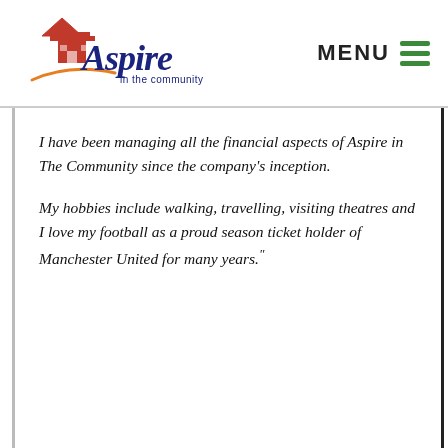[Figure (logo): Aspire in the community logo — orange/red house icon with blue script 'Aspire' text and smaller 'in the community' subtitle]
MENU
I have been managing all the financial aspects of Aspire in The Community since the company's inception.
My hobbies include walking, travelling, visiting theatres and I love my football as a proud season ticket holder of Manchester United for many years."